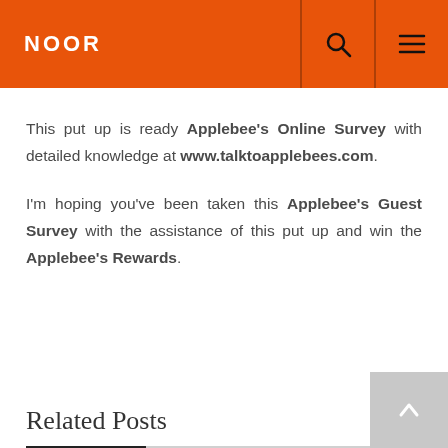NOOR
This put up is ready Applebee's Online Survey with detailed knowledge at www.talktoapplebees.com.
I'm hoping you've been taken this Applebee's Guest Survey with the assistance of this put up and win the Applebee's Rewards.
Related Posts